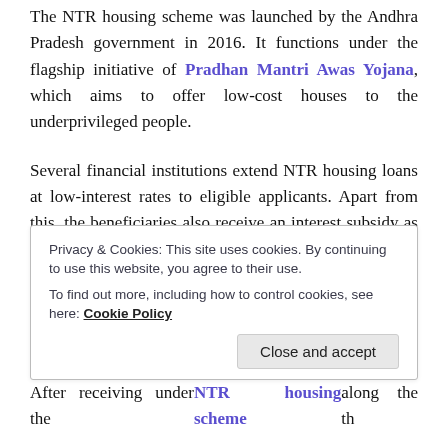The NTR housing scheme was launched by the Andhra Pradesh government in 2016. It functions under the flagship initiative of Pradhan Mantri Awas Yojana, which aims to offer low-cost houses to the underprivileged people.
Several financial institutions extend NTR housing loans at low-interest rates to eligible applicants. Apart from this, the beneficiaries also receive an interest subsidy as per the following eligibility-
A subsidy of Rs. 1.5 Lakh for the beneficiaries under NTR Rural Housing Scheme
Privacy & Cookies: This site uses cookies. By continuing to use this website, you agree to their use. To find out more, including how to control cookies, see here: Cookie Policy
After receiving under the NTR housing scheme th...